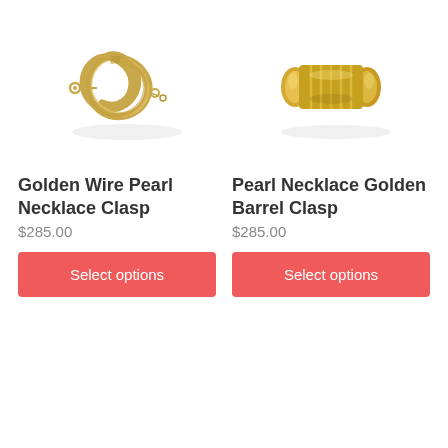[Figure (illustration): Golden wire pearl necklace clasp – a looped knot-style gold clasp with small ring attachments]
Golden Wire Pearl Necklace Clasp
$285.00
Select options
[Figure (illustration): Pearl necklace golden barrel clasp – a ribbed cylindrical gold barrel clasp]
Pearl Necklace Golden Barrel Clasp
$285.00
Select options